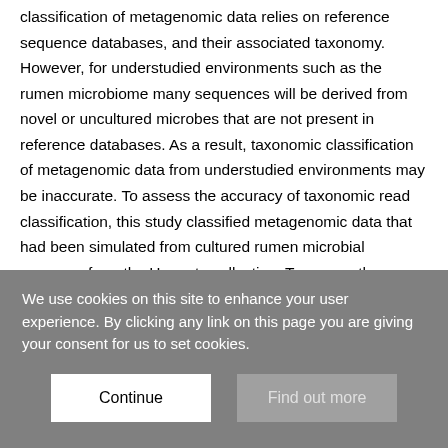classification of metagenomic data relies on reference sequence databases, and their associated taxonomy. However, for understudied environments such as the rumen microbiome many sequences will be derived from novel or uncultured microbes that are not present in reference databases. As a result, taxonomic classification of metagenomic data from understudied environments may be inaccurate. To assess the accuracy of taxonomic read classification, this study classified metagenomic data that had been simulated from cultured rumen microbial genomes from the Hungate collection. To assess the impact of reference databases on the accuracy of taxonomic classification, the data was classified with Kraken 2 using several reference
We use cookies on this site to enhance your user experience. By clicking any link on this page you are giving your consent for us to set cookies.